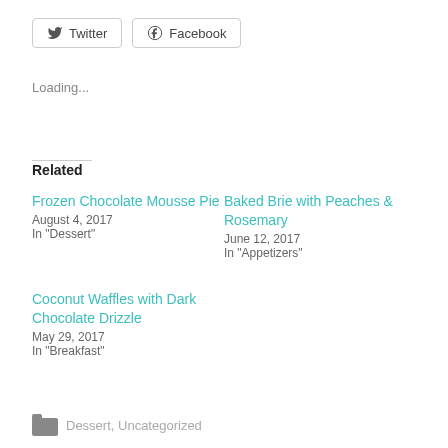[Figure (other): Twitter social share button with bird icon]
[Figure (other): Facebook social share button with f icon]
Loading...
Related
Frozen Chocolate Mousse Pie
August 4, 2017
In "Dessert"
Baked Brie with Peaches & Rosemary
June 12, 2017
In "Appetizers"
Coconut Waffles with Dark Chocolate Drizzle
May 29, 2017
In "Breakfast"
Dessert, Uncategorized